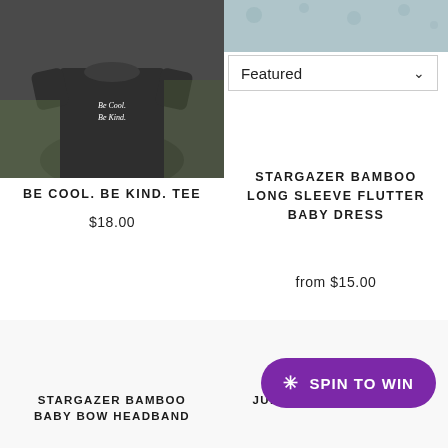[Figure (photo): Child wearing a dark charcoal/black t-shirt with text 'Be Cool. Be Kind.' printed on it, photographed outdoors]
[Figure (photo): Top portion of a light blue/grey baby dress product photo, cropped at top of page]
Featured ∨
BE COOL. BE KIND. TEE
$18.00
STARGAZER BAMBOO LONG SLEEVE FLUTTER BABY DRESS
from $15.00
Sold Out
[Figure (photo): Product image area for Stargazer Bamboo Baby Bow Headband, mostly blank/white]
[Figure (photo): Product image area for Judy Bubble Festival item, mostly blank/white]
STARGAZER BAMBOO BABY BOW HEADBAND
JUDY BUBBLE FESTIVAL
✳ SPIN TO WIN